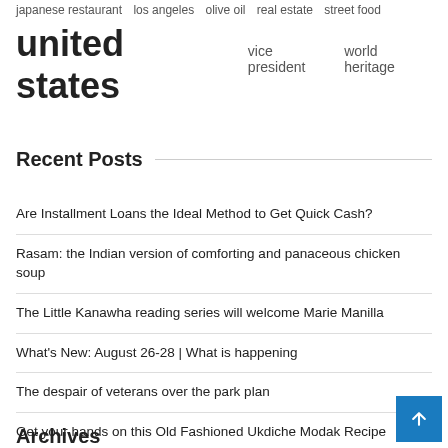japanese restaurant  los angeles  olive oil  real estate  street food
united states  vice president  world heritage
Recent Posts
Are Installment Loans the Ideal Method to Get Quick Cash?
Rasam: the Indian version of comforting and panaceous chicken soup
The Little Kanawha reading series will welcome Marie Manilla
What's New: August 26-28 | What is happening
The despair of veterans over the park plan
Get your hands on this Old Fashioned Ukdiche Modak Recipe
Archives